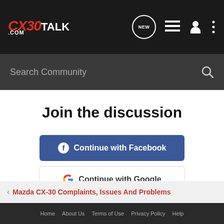CX30TALK.COM
Search Community
Join the discussion
Continue with Facebook
Continue with Google
or sign up with email
< Mazda CX-30 Complaints, Issues And Problems
Home About Us Terms of Use Privacy Policy Help